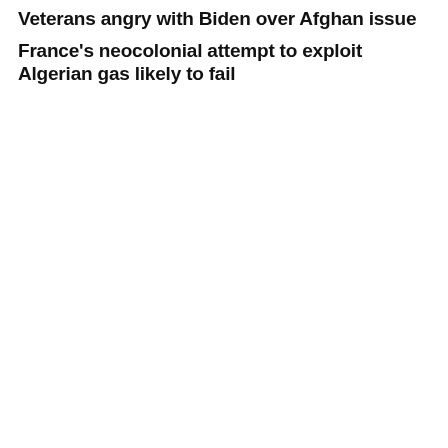Veterans angry with Biden over Afghan issue
France's neocolonial attempt to exploit Algerian gas likely to fail